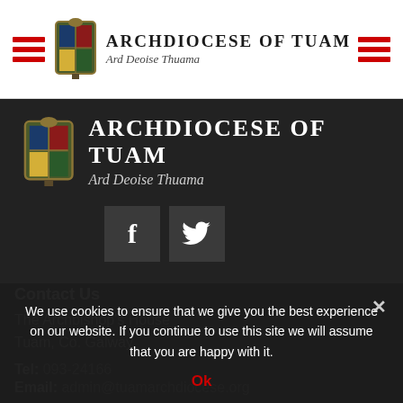Archdiocese of Tuam | Ard Deoise Thuama
[Figure (logo): Archdiocese of Tuam coat of arms and title logo on dark background]
[Figure (infographic): Facebook and Twitter social media icon buttons]
Contact Us
The Archbishop's House
Tuam, Co. Galway.
Tel: 093-24166
Email: admin@tuamarchdiocese.org
We use cookies to ensure that we give you the best experience on our website. If you continue to use this site we will assume that you are happy with it.
Ok